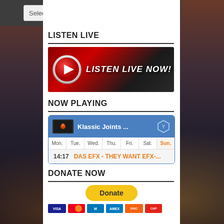[Figure (screenshot): Dark grey top bar with 'Select Here' dropdown selector]
LISTEN LIVE
[Figure (illustration): Red and black banner with play button circle and text 'LISTEN LIVE NOW!']
NOW PLAYING
| Mon. | Tue. | Wed. | Thu. | Fri. | Sat. | Sun. |
| --- | --- | --- | --- | --- | --- | --- |
| 14:17 | DAS EFX - THEY WANT EFX-... |
DONATE NOW
[Figure (other): PayPal Donate button and payment method icons: VISA, Mastercard, Maestro, AMEX, Discover, UnionPay]